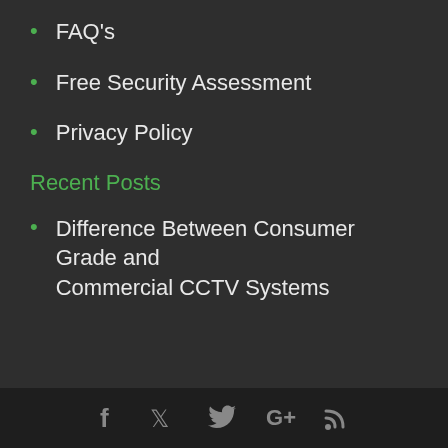FAQ's
Free Security Assessment
Privacy Policy
Recent Posts
Difference Between Consumer Grade and Commercial CCTV Systems
Social icons: Facebook, Twitter, Google+, RSS